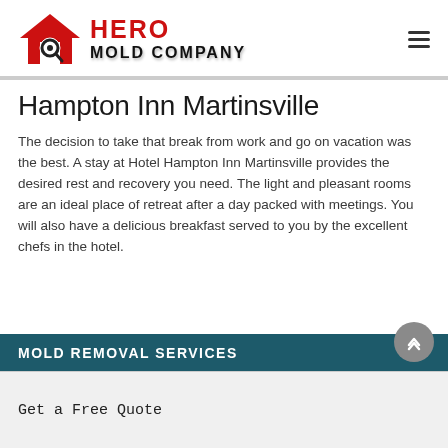Hero Mold Company
Hampton Inn Martinsville
The decision to take that break from work and go on vacation was the best. A stay at Hotel Hampton Inn Martinsville provides the desired rest and recovery you need. The light and pleasant rooms are an ideal place of retreat after a day packed with meetings. You will also have a delicious breakfast served to you by the excellent chefs in the hotel.
MOLD REMOVAL SERVICES
Get a Free Quote